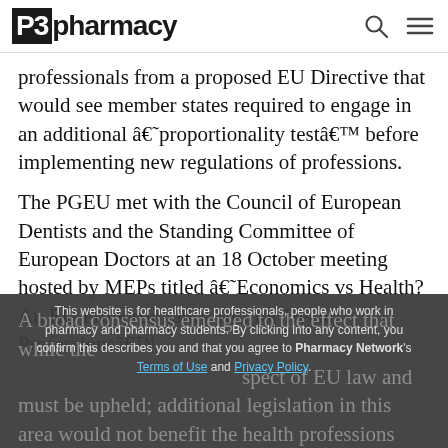P3pharmacy
professionals from a proposed EU Directive that would see member states required to engage in an additional â€˜proportionality testâ€™ before implementing new regulations of professions.
The PGEU met with the Council of European Dentists and the Standing Committee of European Doctors at an 18 October meeting hosted by MEPs titled â€˜Economics vs Health? An EU Proportionality Test for Health Professionsâ€™.
A broad consensus emerged to the effect that while the any content, you confirm this describes you and that you spect of EU law and must be upheld; additional legislation in this area would not benefit the health professions
This website is for healthcare professionals, people who work in pharmacy and pharmacy students. By clicking into any content, you confirm this describes you and that you agree to Pharmacy Network's Terms of Use and Privacy Policy.